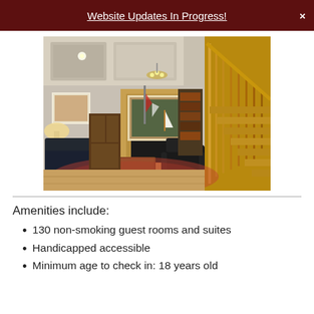Website Updates In Progress!
[Figure (photo): Interior lobby photo of a hotel or inn showing leather sofas, a fireplace with wood surround, a wooden staircase with carpeted steps, warm lighting, decorative rugs, and framed artwork on the walls.]
Amenities include:
130 non-smoking guest rooms and suites
Handicapped accessible
Minimum age to check in: 18 years old